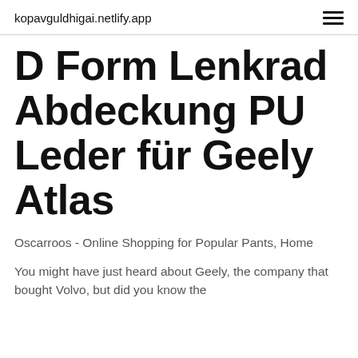kopavguldhigai.netlify.app
D Form Lenkrad Abdeckung PU Leder für Geely Atlas
Oscarroos - Online Shopping for Popular Pants, Home
You might have just heard about Geely, the company that bought Volvo, but did you know the